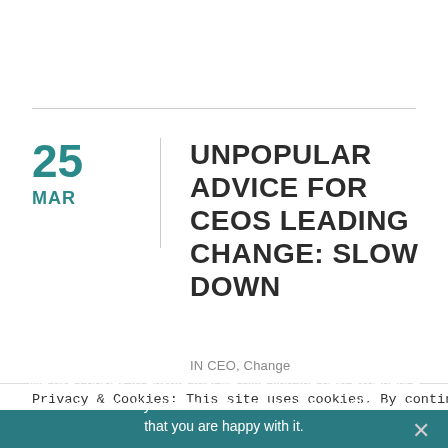25
MAR
UNPOPULAR ADVICE FOR CEOS LEADING CHANGE: SLOW DOWN
IN CEO, Change
Privacy & Cookies: This site uses cookies. By continuing to use this
We use cookies to ensure that we give you the best experience on our website. If you continue to use this site we will assume that you are happy with it.
Ok
No